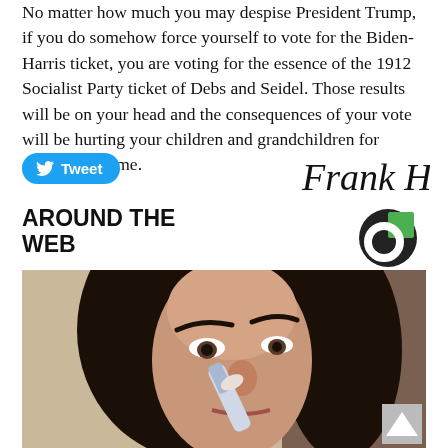No matter how much you may despise President Trump, if you do somehow force yourself to vote for the Biden-Harris ticket, you are voting for the essence of the 1912 Socialist Party ticket of Debs and Seidel. Those results will be on your head and the consequences of your vote will be hurting your children and grandchildren for decades to come.
[Figure (other): Twitter Tweet button (blue rounded rectangle with bird icon and 'Tweet' text)]
[Figure (illustration): Handwritten signature reading 'Frank Hill' in cursive ink]
AROUND THE WEB
[Figure (logo): Circular logo with green and dark background, partially cut off]
[Figure (photo): Photo of a woman with dark hair applying something to her nose with a brush or applicator]